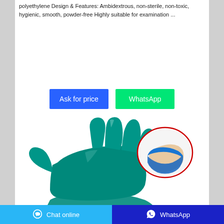polyethylene Design & Features: Ambidextrous, non-sterile, non-toxic, hygienic, smooth, powder-free Highly suitable for examination ...
[Figure (other): Two call-to-action buttons: 'Ask for price' (blue) and 'WhatsApp' (green)]
[Figure (photo): Teal/green examination glove displayed on a hand, with an inset oval close-up showing the cuff area in blue]
Chat online   WhatsApp